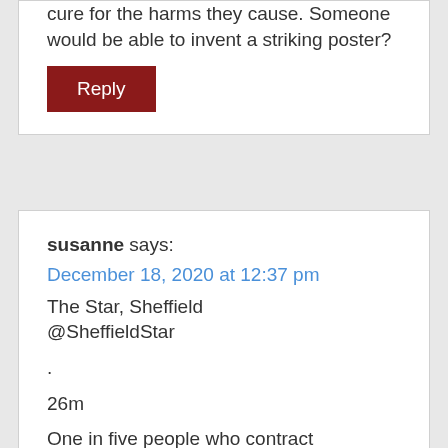cure for the harms they cause. Someone would be able to invent a striking poster?
Reply
susanne says:
December 18, 2020 at 12:37 pm
The Star, Sheffield
@SheffieldStar
.
26m
One in five people who contract coronavirus are now believed to develop long-term symptoms, including brain fog, anxiety, depression, breathlessness and fatigue

Many of the symptoms of long covid are likely to lead to prescriptions of ADs -People need to